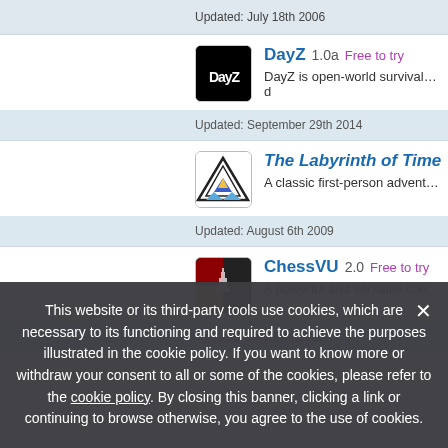Updated: July 18th 2006
DayZ 1.0a Free to try — DayZ is open-world survival horror hybrid
Updated: September 29th 2014
The Labyrinth of Time 1.0.1 Free — A classic first-person adventure in a time
Updated: August 6th 2009
ChessVU 2.0 Free to try — A powerful and versatile chess game vie
Updated: July 16th 2010
This website or its third-party tools use cookies, which are necessary to its functioning and required to achieve the purposes illustrated in the cookie policy. If you want to know more or withdraw your consent to all or some of the cookies, please refer to the cookie policy. By closing this banner, clicking a link or continuing to browse otherwise, you agree to the use of cookies.